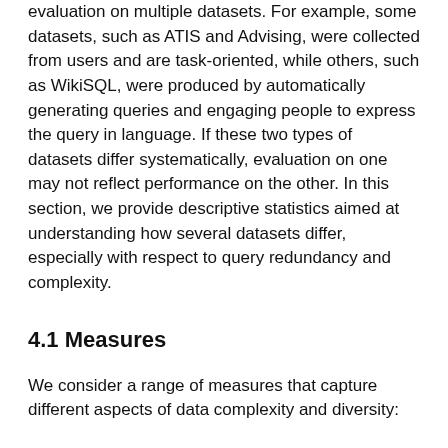evaluation on multiple datasets. For example, some datasets, such as ATIS and Advising, were collected from users and are task-oriented, while others, such as WikiSQL, were produced by automatically generating queries and engaging people to express the query in language. If these two types of datasets differ systematically, evaluation on one may not reflect performance on the other. In this section, we provide descriptive statistics aimed at understanding how several datasets differ, especially with respect to query redundancy and complexity.
4.1 Measures
We consider a range of measures that capture different aspects of data complexity and diversity:
Question / Unique Query Counts
We measure dataset size and how many distinct queries there are when variables are anonymized. We also present the mean number of questions per unique query; a larger mean indicates greater redundancy.